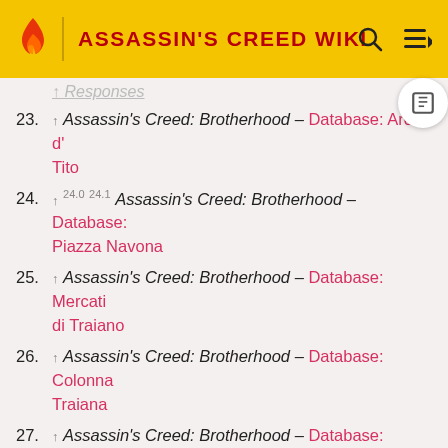ASSASSIN'S CREED WIKI
23. ↑ Assassin's Creed: Brotherhood – Database: Arco di Tito
24. ↑ 24.0 24.1 Assassin's Creed: Brotherhood – Database: Piazza Navona
25. ↑ Assassin's Creed: Brotherhood – Database: Mercati di Traiano
26. ↑ Assassin's Creed: Brotherhood – Database: Colonna Traiana
27. ↑ Assassin's Creed: Brotherhood – Database: Terme di Traiano
28. ↑ 28.0 28.1 28.2 28.3 28.4 28.5 Assassin's Creed: Brotherhood – Database: Castel Sant'Angelo
29. ↑ 29.0 29.1 Assassin's Creed: Brotherhood – Database: Tempio di Antonino e Faustina